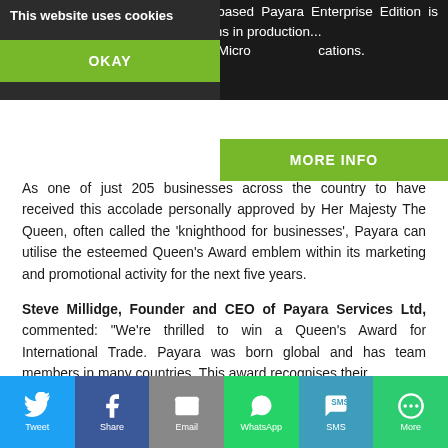the fully supported, subscription based Payara Enterprise Edition is designed for mission critical systems in production... E and Micro locations.
This website uses cookies
OKAY
MORE INFO
As one of just 205 businesses across the country to have received this accolade personally approved by Her Majesty The Queen, often called the ‘knighthood for businesses’, Payara can utilise the esteemed Queen’s Award emblem within its marketing and promotional activity for the next five years.
Steve Millidge, Founder and CEO of Payara Services Ltd, commented: “We're thrilled to win a Queen's Award for International Trade. Payara was born global and has team members in many countries. This award recognises their
[Figure (infographic): Social sharing bar with Twitter, Facebook, Email, WhatsApp, SMS, and More buttons]